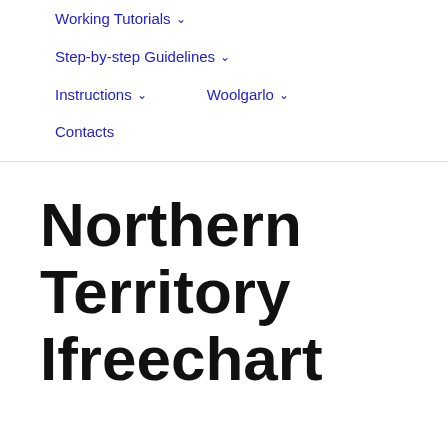Working Tutorials
Step-by-step Guidelines
Instructions
Woolgarlo
Contacts
Northern Territory Ifreechart